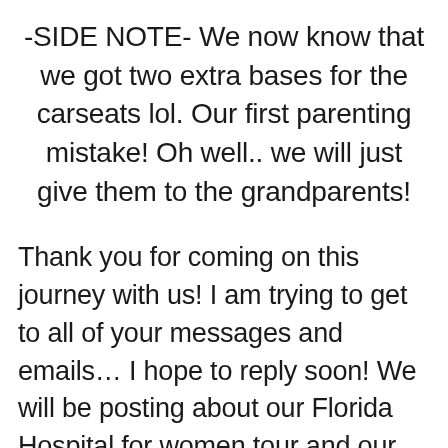-SIDE NOTE- We now know that we got two extra bases for the carseats lol. Our first parenting mistake! Oh well.. we will just give them to the grandparents!
Thank you for coming on this journey with us! I am trying to get to all of your messages and emails… I hope to reply soon! We will be posting about our Florida Hospital for women tour and our GENDER REVEAL soon! Stay tuned!